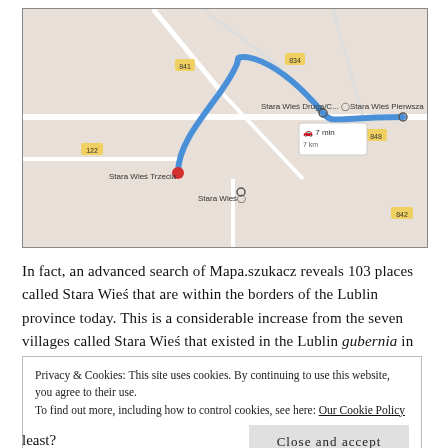[Figure (map): Google Maps screenshot showing a route between Stara Wieś Trzecia, Stara Wieś Druga, and Stara Wieś Pierwsza, with a blue route line and a 7 min travel time popup.]
In fact, an advanced search of Mapa.szukacz reveals 103 places called Stara Wieś that are within the borders of the Lublin province today. This is a considerable increase from the seven villages called Stara Wieś that existed in the Lublin gubernia in 1877 according to the SKP, an increase
Privacy & Cookies: This site uses cookies. By continuing to use this website, you agree to their use.
To find out more, including how to control cookies, see here: Our Cookie Policy
Close and accept
least?